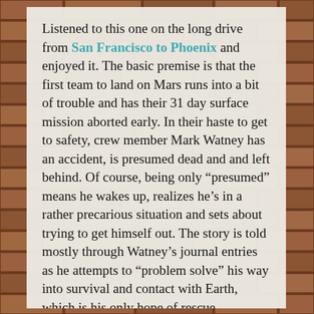Listened to this one on the long drive from San Francisco to Phoenix and enjoyed it. The basic premise is that the first team to land on Mars runs into a bit of trouble and has their 31 day surface mission aborted early. In their haste to get to safety, crew member Mark Watney has an accident, is presumed dead and and left behind. Of course, being only “presumed” means he wakes up, realizes he’s in a rather precarious situation and sets about trying to get himself out. The story is told mostly through Watney’s journal entries as he attempts to “problem solve” his way into survival and contact with Earth, which is his only hope of rescue. Interstitial chapters have NASA officials and the crew of Ares 3, Watney’s mission, as viewpoint characters so we can see what’s going on on the other side of the rescue. Watney’s journals display a lightness, even in the face of